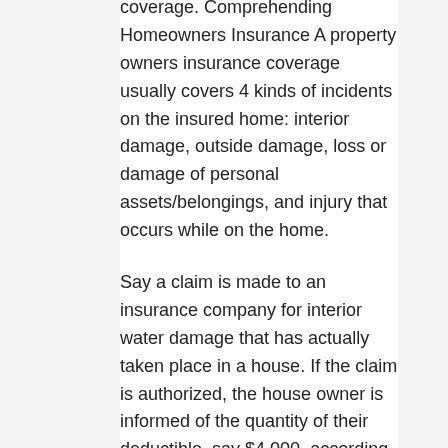coverage. Comprehending Homeowners Insurance A property owners insurance coverage usually covers 4 kinds of incidents on the insured home: interior damage, outside damage, loss or damage of personal assets/belongings, and injury that occurs while on the home.
Say a claim is made to an insurance company for interior water damage that has actually taken place in a house. If the claim is authorized, the house owner is informed of the quantity of their deductible, say $4,000, according to the policy contract entered into. 21st Century Homeowners Insurance Login.